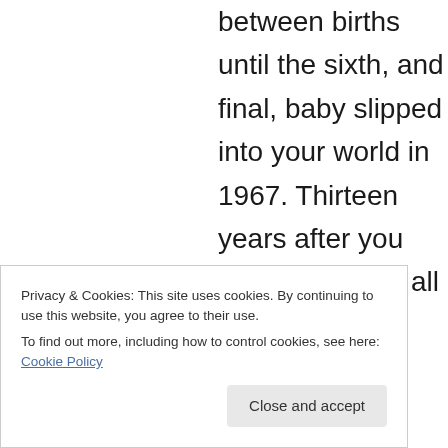between births until the sixth, and final, baby slipped into your world in 1967. Thirteen years after you married. Not at all unlucky
Privacy & Cookies: This site uses cookies. By continuing to use this website, you agree to their use. To find out more, including how to control cookies, see here: Cookie Policy
Close and accept